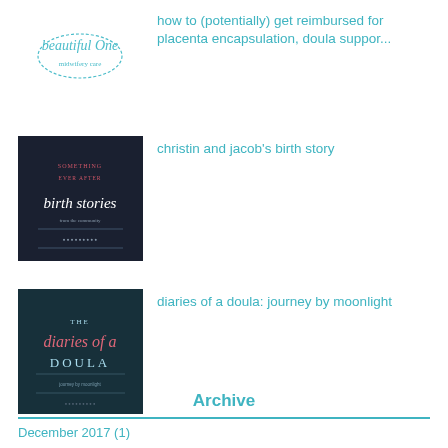how to (potentially) get reimbursed for placenta encapsulation, doula suppor...
christin and jacob's birth story
diaries of a doula: journey by moonlight
Archive
December 2017 (1)